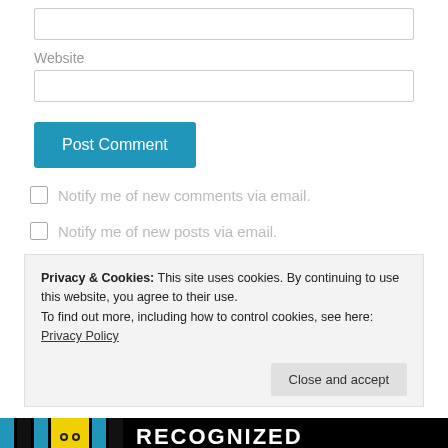[Figure (screenshot): A text input field (empty, with border) for a form field at top of page]
Website
[Figure (screenshot): A text input field (empty, with border) for the Website field]
[Figure (screenshot): Post Comment button, blue background with white text]
Notify me of new comments via email.
Notify me of new posts via email.
Privacy & Cookies: This site uses cookies. By continuing to use this website, you agree to their use.
To find out more, including how to control cookies, see here: Privacy Policy
[Figure (screenshot): Close and accept button within cookie banner]
[Figure (screenshot): Recognized badge bar at bottom with black, blue, yellow blocks and white RECOGNIZED text]